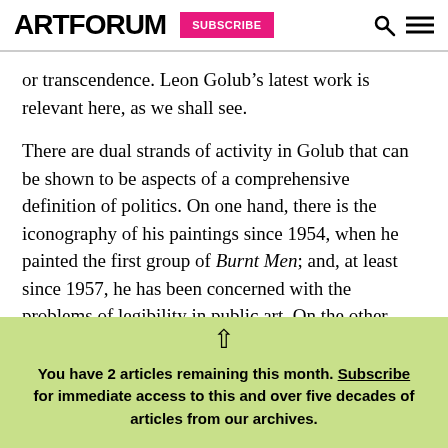ARTFORUM  SUBSCRIBE
or transcendence. Leon Golub’s latest work is relevant here, as we shall see.
There are dual strands of activity in Golub that can be shown to be aspects of a comprehensive definition of politics. On one hand, there is the iconography of his paintings since 1954, when he painted the first group of Burnt Men; and, at least since 1957, he has been concerned with the problems of legibility in public art. On the other hand, in 1964, when he
You have 2 articles remaining this month. Subscribe for immediate access to this and over five decades of articles from our archives.